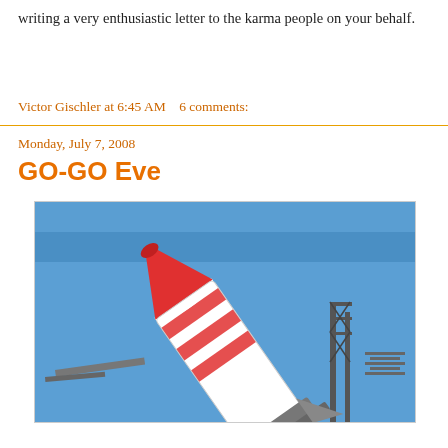writing a very enthusiastic letter to the karma people on your behalf.
Victor Gischler at 6:45 AM   6 comments:
Monday, July 7, 2008
GO-GO Eve
[Figure (photo): A white and red striped rocket/missile on a launch pad against a blue sky background]